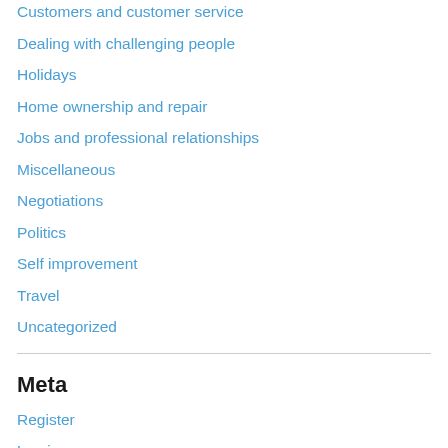Customers and customer service
Dealing with challenging people
Holidays
Home ownership and repair
Jobs and professional relationships
Miscellaneous
Negotiations
Politics
Self improvement
Travel
Uncategorized
Meta
Register
Log in
Entries feed
Comments feed
WordPress.com